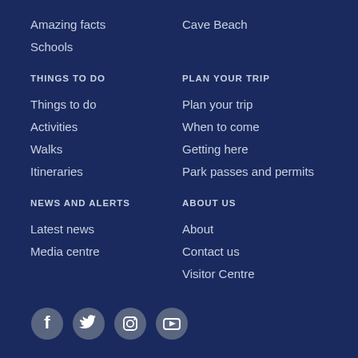Amazing facts
Cave Beach
Schools
THINGS TO DO
PLAN YOUR TRIP
Things to do
Plan your trip
Activities
When to come
Walks
Getting here
Itineraries
Park passes and permits
NEWS AND ALERTS
ABOUT US
Latest news
About
Media centre
Contact us
Visitor Centre
[Figure (illustration): Social media icons: Facebook, Twitter, Instagram, YouTube]